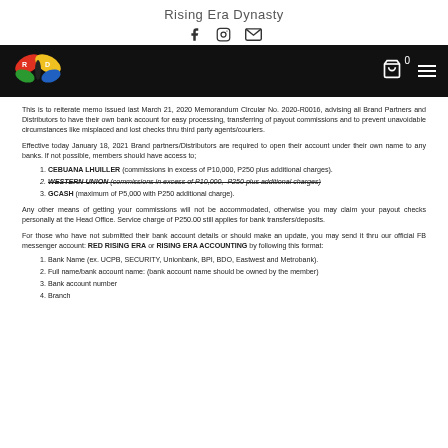Rising Era Dynasty
[Figure (logo): Social media icons: Facebook, Instagram, Email]
[Figure (logo): Rising Era Dynasty butterfly logo on black navigation bar with cart icon (0) and hamburger menu]
This is to reiterate memo issued last March 21, 2020 Memorandum Circular No. 2020-R0016, advising all Brand Partners and Distributors to have their own bank account for easy processing, transferring of payout commissions and to prevent unavoidable circumstances like misplaced and lost checks thru third party agents/couriers.
Effective today January 18, 2021 Brand partners/Distributors are required to open their account under their own name to any banks. If not possible, members should have access to;
CEBUANA LHUILLER (commissions in excess of P10,000, P250 plus additional charges).
WESTERN UNION (commissions in excess of P10,000, P250 plus additional charges)
GCASH (maximum of P5,000 with P250 additional charge).
Any other means of getting your commissions will not be accommodated, otherwise you may claim your payout checks personally at the Head Office. Service charge of P250.00 still applies for bank transfers/deposits.
For those who have not submitted their bank account details or should make an update, you may send it thru our official FB messenger account: RED RISING ERA or RISING ERA ACCOUNTING by following this format:
Bank Name (ex. UCPB, SECURITY, Unionbank, BPI, BDO, Eastwest and Metrobank).
Full name/bank account name: (bank account name should be owned by the member)
Bank account number
Branch